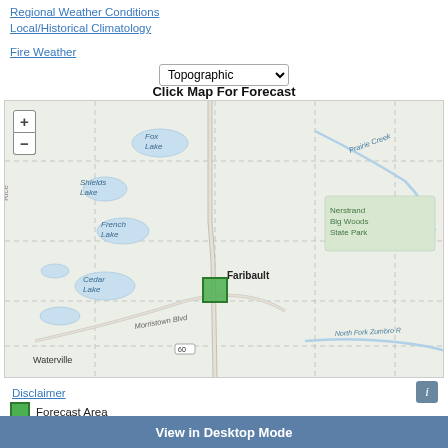Regional Weather Conditions
Local/Historical Climatology
Fire Weather
Topographic
Click Map For Forecast
[Figure (map): Topographic map centered on Faribault, MN area showing lakes (Fox Lake, Shields Lake, French Lake, Cedar Lake), Nerstrand Big Woods State Park, Prairie Creek, North Fork Zumbro River, Morristown Blvd, Waterville, and a green forecast area square near Faribault.]
Disclaimer
Forecast Area
View in Desktop Mode